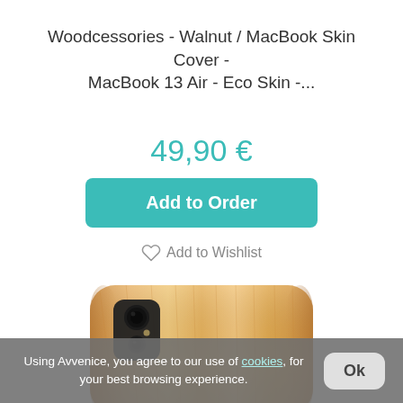Woodcessories - Walnut / MacBook Skin Cover - MacBook 13 Air - Eco Skin -...
49,90 €
Add to Order
Add to Wishlist
[Figure (photo): Wooden phone case (light wood grain) photographed from the back, showing camera cutout with dual lens module, partially cropped at bottom of frame.]
Using Avvenice, you agree to our use of cookies, for your best browsing experience.